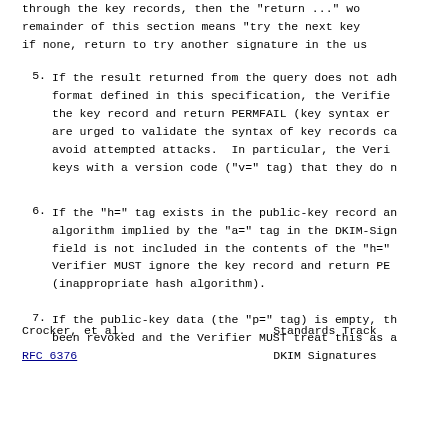through the key records, then the "return ..." wo remainder of this section means "try the next key if none, return to try another signature in the us
5.  If the result returned from the query does not adh format defined in this specification, the Verifie the key record and return PERMFAIL (key syntax er are urged to validate the syntax of key records ca avoid attempted attacks.  In particular, the Veri keys with a version code ("v=" tag) that they do n
Crocker, et al.                    Standards Track
RFC 6376                           DKIM Signatures
6.  If the "h=" tag exists in the public-key record an algorithm implied by the "a=" tag in the DKIM-Sign field is not included in the contents of the "h=" Verifier MUST ignore the key record and return PE (inappropriate hash algorithm).
7.  If the public-key data (the "p=" tag) is empty, th been revoked and the Verifier MUST treat this as a